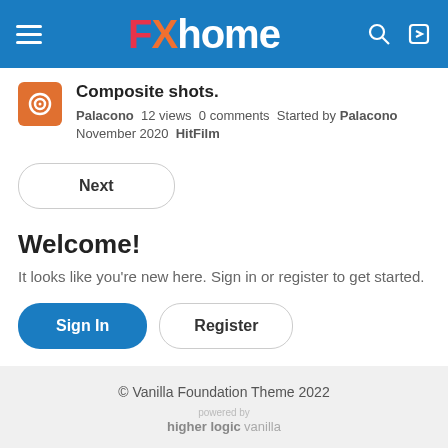FXhome
Composite shots.
Palacono  12 views  0 comments  Started by Palacono  November 2020  HitFilm
Next
Welcome!
It looks like you're new here. Sign in or register to get started.
Sign In  Register
© Vanilla Foundation Theme 2022  powered by higher logic vanilla